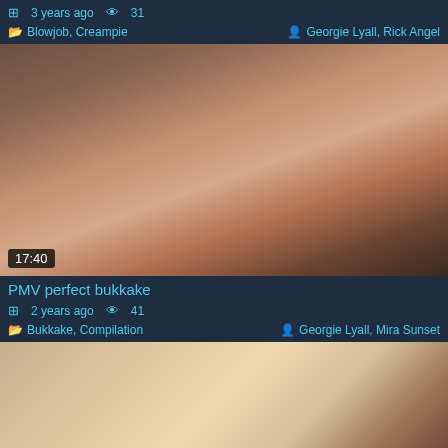3 years ago  👁 31
Blowjob, Creampie    Georgie Lyall, Rick Angel
[Figure (photo): Close-up photo of a woman's face with duration badge 17:40]
PMV perfect bukkake
2 years ago  👁 41
Bukkake, Compilation    Georgie Lyall, Mira Sunset
[Figure (photo): Photo of two people on a red couch, partially visible]